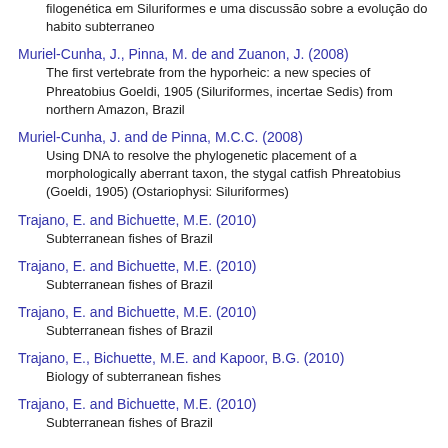filogenética em Siluriformes e uma discussão sobre a evolução do habito subterraneo
Muriel-Cunha, J., Pinna, M. de and Zuanon, J. (2008)
The first vertebrate from the hyporheic: a new species of Phreatobius Goeldi, 1905 (Siluriformes, incertae Sedis) from northern Amazon, Brazil
Muriel-Cunha, J. and de Pinna, M.C.C. (2008)
Using DNA to resolve the phylogenetic placement of a morphologically aberrant taxon, the stygal catfish Phreatobius (Goeldi, 1905) (Ostariophysi: Siluriformes)
Trajano, E. and Bichuette, M.E. (2010)
Subterranean fishes of Brazil
Trajano, E. and Bichuette, M.E. (2010)
Subterranean fishes of Brazil
Trajano, E. and Bichuette, M.E. (2010)
Subterranean fishes of Brazil
Trajano, E., Bichuette, M.E. and Kapoor, B.G. (2010)
Biology of subterranean fishes
Trajano, E. and Bichuette, M.E. (2010)
Subterranean fishes of Brazil